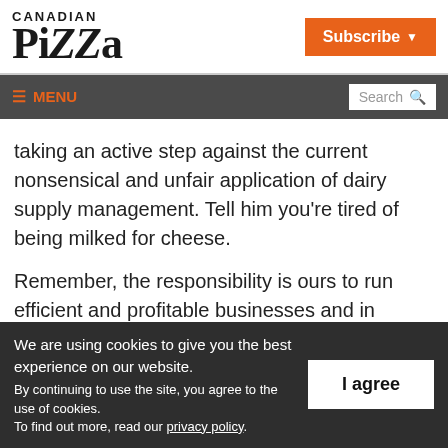CANADIAN Pizza
taking an active step against the current nonsensical and unfair application of dairy supply management. Tell him you're tired of being milked for cheese.
Remember, the responsibility is ours to run efficient and profitable businesses and in
We are using cookies to give you the best experience on our website. By continuing to use the site, you agree to the use of cookies. To find out more, read our privacy policy.